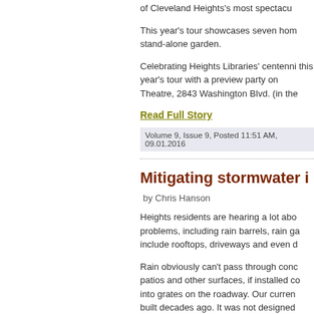of Cleveland Heights's most spectacular
This year's tour showcases seven homes and a stand-alone garden.
Celebrating Heights Libraries' centennial, this year's tour with a preview party on Theatre, 2843 Washington Blvd. (in the
Read Full Story
Volume 9, Issue 9, Posted 11:51 AM, 09.01.2016
Mitigating stormwater i
by Chris Hanson
Heights residents are hearing a lot about problems, including rain barrels, rain ga include rooftops, driveways and even d
Rain obviously can't pass through conc patios and other surfaces, if installed c into grates on the roadway. Our curren built decades ago. It was not designed impervious surfaces.